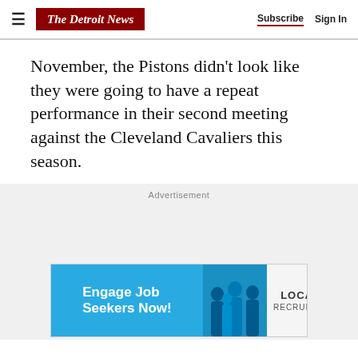The Detroit News — Subscribe | Sign In
November, the Pistons didn't look like they were going to have a repeat performance in their second meeting against the Cleveland Cavaliers this season.
Advertisement
[Figure (illustration): LOCALiQ Recruitment advertisement banner reading 'Engage Job Seekers Now!' with blue background, silhouette of people, and LOCALiQ RECRUITMENT logo on white background.]